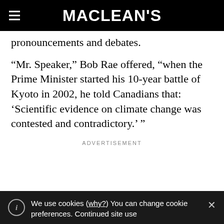MACLEAN'S
pronouncements and debates.
“Mr. Speaker,” Bob Rae offered, “when the Prime Minister started his 10-year battle of Kyoto in 2002, he told Canadians that: ‘Scientific evidence on climate change was contested and contradictory.’ ”
ADVERTISEMENT
We use cookies (why?) You can change cookie preferences. Continued site use